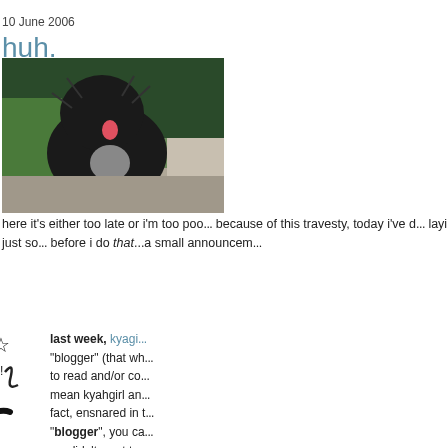10 June 2006
huh.
[Figure (photo): A large black fluffy dog with its tongue out, sitting outdoors near stone steps and green plants/garden.]
here it's either too late or i'm too poo... because of this travesty, today i've d... laying around on other sites, just so... before i do that...a small announcem...
[Figure (illustration): Black and white cartoon illustration of a stick-figure person being hit or spinning with stars around their head.]
last week, kyagi... "blogger" (that wh... to read and/or co... mean kyahgirl an... fact, ensnared in t... "blogger", you ca... we didn't want to ... something about i... girls we are). that'... for those with "co... comments (from/for anyone's blo...